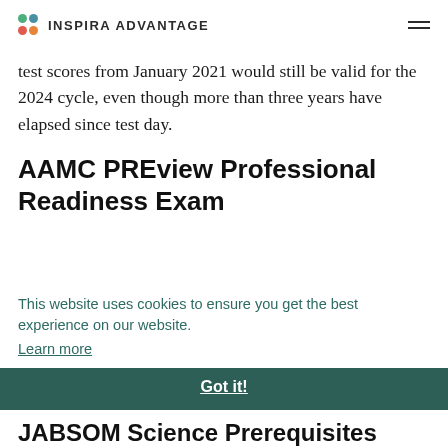INSPIRA ADVANTAGE
test scores from January 2021 would still be valid for the 2024 cycle, even though more than three years have elapsed since test day.
AAMC PREview Professional Readiness Exam
This website uses cookies to ensure you get the best experience on our website. Learn more
fore
Got it!
JABSOM Science Prerequisites